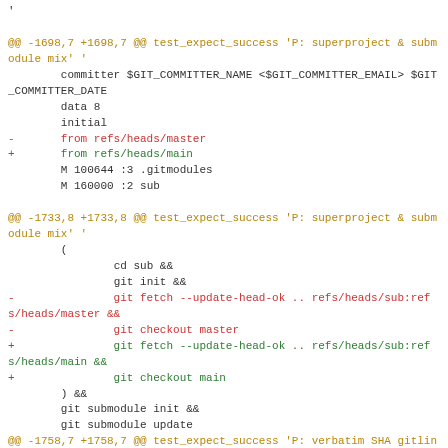Code diff showing git test script changes: hunk headers for lines -1698,7 +1698,7, -1733,8 +1733,8, and -1758,7 +1758,7 in test_expect_success sections. Changes replace refs/heads/master with refs/heads/main and git checkout master with git checkout main.